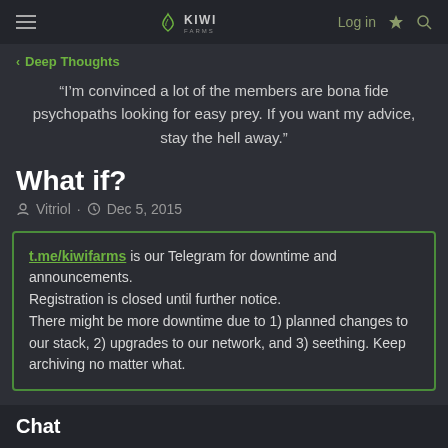KIWI FARMS — Log in
< Deep Thoughts
“I’m convinced a lot of the members are bona fide psychopaths looking for easy prey. If you want my advice, stay the hell away.”
What if?
Vitriol · Dec 5, 2015
t.me/kiwifarms is our Telegram for downtime and announcements. Registration is closed until further notice. There might be more downtime due to 1) planned changes to our stack, 2) upgrades to our network, and 3) seething. Keep archiving no matter what.
Chat